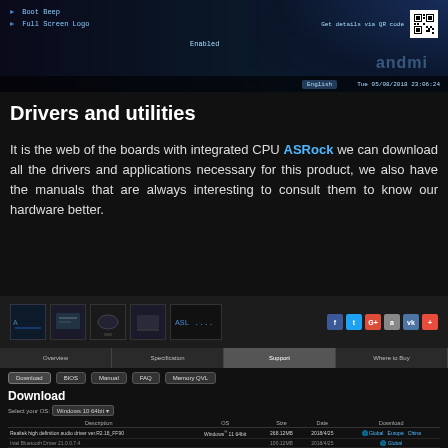[Figure (screenshot): BIOS/UEFI screen showing boot settings including 'Full Screen Logo' set to 'Enabled', with a QR code overlay and date/time bar at bottom showing 'English' and 'Tue 05/08/2018 23:06:24']
Drivers and utilities
It is the web of the boards with integrated CPU ASRock we can download all the drivers and applications necessary for this product, we also have the manuals that are always interesting to consult them to know our hardware better.
[Figure (screenshot): ASRock product support page screenshot showing motherboard thumbnails, social media icons (Facebook, Twitter, G+, etc.), navigation tabs (Overview, Specification, Support, Where to Buy) with 'Support' active, download buttons (Download, BIOS, Manual, FAQ, Memory QVL), Download section with OS selector showing Windows 10 64bit, and a table with columns Description, OS, Size, Date, Download listing Realtek high definition audio driver ver.R2.18_FF90]